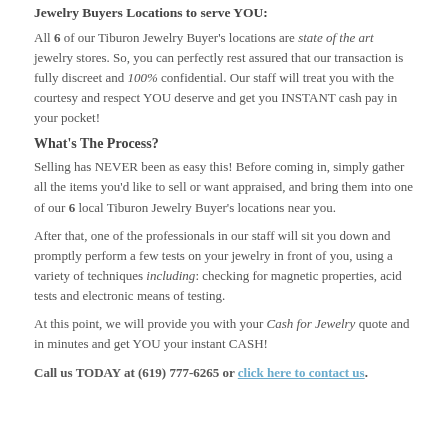Jewelry Buyers Locations to serve YOU:
All 6 of our Tiburon Jewelry Buyer's locations are state of the art jewelry stores. So, you can perfectly rest assured that our transaction is fully discreet and 100% confidential. Our staff will treat you with the courtesy and respect YOU deserve and get you INSTANT cash pay in your pocket!
What's The Process?
Selling has NEVER been as easy this! Before coming in, simply gather all the items you'd like to sell or want appraised, and bring them into one of our 6 local Tiburon Jewelry Buyer's locations near you.
After that, one of the professionals in our staff will sit you down and promptly perform a few tests on your jewelry in front of you, using a variety of techniques including: checking for magnetic properties, acid tests and electronic means of testing.
At this point, we will provide you with your Cash for Jewelry quote and in minutes and get YOU your instant CASH!
Call us TODAY at (619) 777-6265 or click here to contact us.